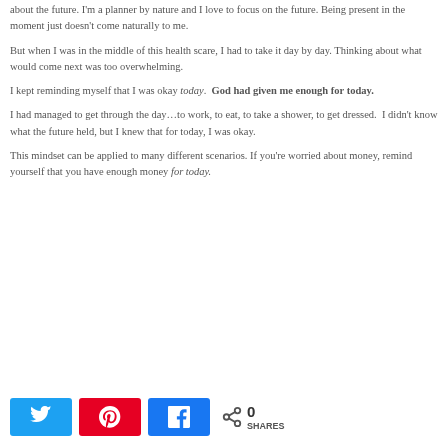about the future.  I'm a planner by nature and I love to focus on the future.  Being present in the moment just doesn't come naturally to me.
But when I was in the middle of this health scare, I had to take it day by day.  Thinking about what would come next was too overwhelming.
I kept reminding myself that I was okay today.  God had given me enough for today.
I had managed to get through the day…to work, to eat, to take a shower, to get dressed.  I didn't know what the future held, but I knew that for today, I was okay.
This mindset can be applied to many different scenarios.  If you're worried about money, remind yourself that you have enough money for today.
[Figure (infographic): Social share buttons: Twitter (blue), Pinterest (red), Facebook (blue), plus share icon with 0 SHARES count]